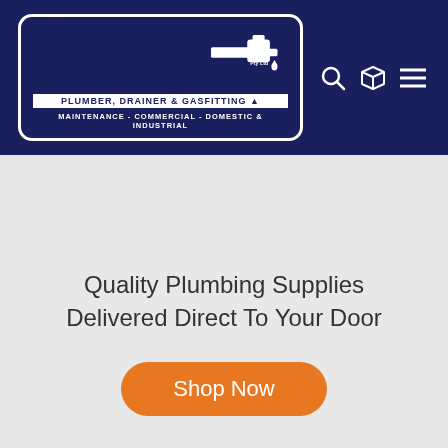[Figure (logo): O'Connells Plumbing Pty Ltd logo with faucet icon, tagline 'PLUMBER, DRAINER & GASFITTING' and 'MAINTENANCE - COMMERCIAL - DOMESTIC & INDUSTRIAL' on dark navy background header with search, box, and menu icons]
Quality Plumbing Supplies Delivered Direct To Your Door
Shop Now